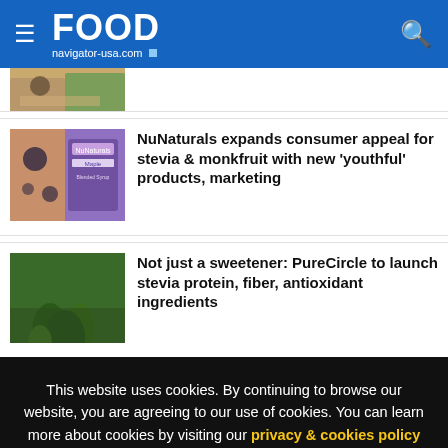FOOD navigator-usa.com
[Figure (photo): Partial food photo at top of article list (cropped)]
[Figure (photo): NuNaturals Maple product with blueberries]
NuNaturals expands consumer appeal for stevia & monkfruit with new 'youthful' products, marketing
[Figure (photo): Green stevia plant outdoors]
Not just a sweetener: PureCircle to launch stevia protein, fiber, antioxidant ingredients
This website uses cookies. By continuing to browse our website, you are agreeing to our use of cookies. You can learn more about cookies by visiting our privacy & cookies policy page.